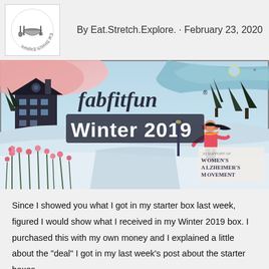By Eat.Stretch.Explore. · February 23, 2020
[Figure (photo): FabFitFun Winter 2019 subscription box with illustrated winter scene showing a woman ice skating, trees, flowers, and text reading 'Winter 2019' and 'In support of Women's Alzheimer's Movement']
Since I showed you what I got in my starter box last week, figured I would show what I received in my Winter 2019 box. I purchased this with my own money and I explained a little about the "deal" I got in my last week's post about the starter boxes.